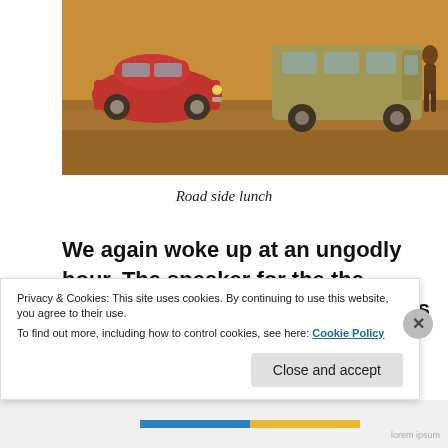[Figure (photo): Outdoor scene with a red VW Beetle car and a khaki/olive green van parked on dry sandy ground. A person is visible near the van on the right side.]
Road side lunch
We again woke up at an ungodly hour. The speaker for the the Muslim call to prayer felt like it was inside our room. We admitted defeat and got up. Over peanut butter and banana sandwiches we again went through the pros and cons of both routes. Marcia and I was keen for Morrumbala
Privacy & Cookies: This site uses cookies. By continuing to use this website, you agree to their use.
To find out more, including how to control cookies, see here: Cookie Policy
Close and accept